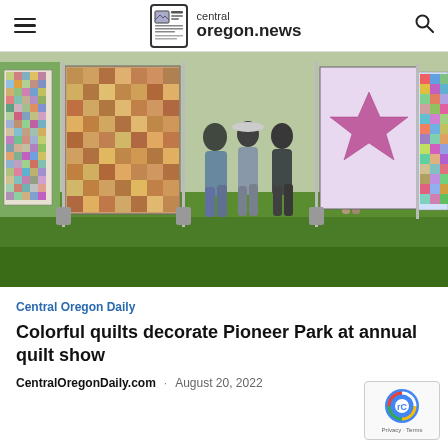central oregon.news
[Figure (photo): Outdoor quilt show at Pioneer Park, several people standing among colorful quilts hung on display frames on green grass]
Central Oregon Daily
Colorful quilts decorate Pioneer Park at annual quilt show
CentralOregonDaily.com · August 20, 2022